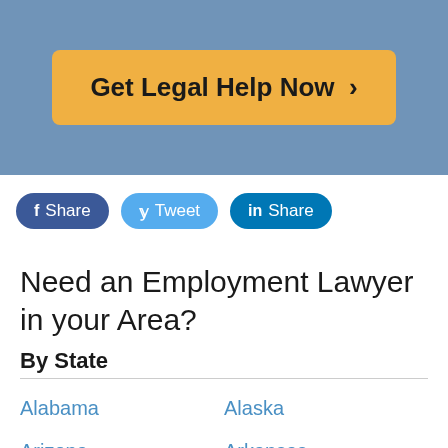[Figure (other): Call-to-action button: Get Legal Help Now > on a blue banner background]
[Figure (other): Social sharing buttons: Facebook Share, Tweet, LinkedIn Share]
Need an Employment Lawyer in your Area?
By State
Alabama
Alaska
Arizona
Arkansas
California
Colorado
Connecticut
Delaware